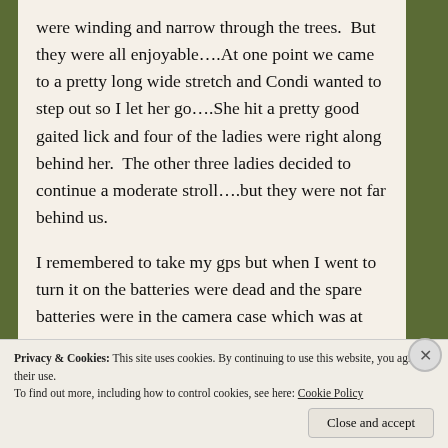were winding and narrow through the trees. But they were all enjoyable….At one point we came to a pretty long wide stretch and Condi wanted to step out so I let her go….She hit a pretty good gaited lick and four of the ladies were right along behind her. The other three ladies decided to continue a moderate stroll….but they were not far behind us.
I remembered to take my gps but when I went to turn it on the batteries were dead and the spare batteries were in the camera case which was at home on my desk. One of the ladies had a fit bit
Privacy & Cookies: This site uses cookies. By continuing to use this website, you agree to their use.
To find out more, including how to control cookies, see here: Cookie Policy